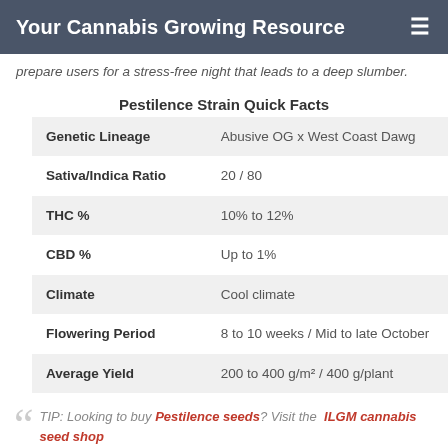Your Cannabis Growing Resource
prepare users for a stress-free night that leads to a deep slumber.
Pestilence Strain Quick Facts
|  |  |
| --- | --- |
| Genetic Lineage | Abusive OG x West Coast Dawg |
| Sativa/Indica Ratio | 20 / 80 |
| THC % | 10% to 12% |
| CBD % | Up to 1% |
| Climate | Cool climate |
| Flowering Period | 8 to 10 weeks / Mid to late October |
| Average Yield | 200 to 400 g/m² / 400 g/plant |
TIP: Looking to buy Pestilence seeds? Visit the ILGM cannabis seed shop